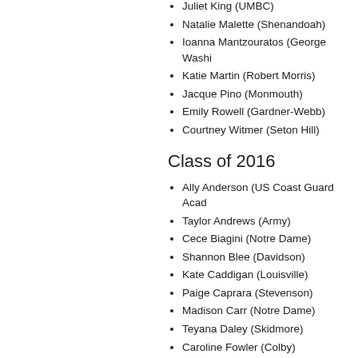Juliet King (UMBC)
Natalie Malette (Shenandoah)
Ioanna Mantzouratos (George Washington)
Katie Martin (Robert Morris)
Jacque Pino (Monmouth)
Emily Rowell (Gardner-Webb)
Courtney Witmer (Seton Hill)
Class of 2016
Ally Anderson (US Coast Guard Academy)
Taylor Andrews (Army)
Cece Biagini (Notre Dame)
Shannon Blee (Davidson)
Kate Caddigan (Louisville)
Paige Caprara (Stevenson)
Madison Carr (Notre Dame)
Teyana Daley (Skidmore)
Caroline Fowler (Colby)
Emily Garcia (Berry)
Caitlyn Gunn (Loyola)
Megan Hart (Monmouth)
Peyton Holifield (Stetson)
Kiley Keating (Towson)
Emma Knoll (Hamilton)
Kelsea Konz (UC Davis)